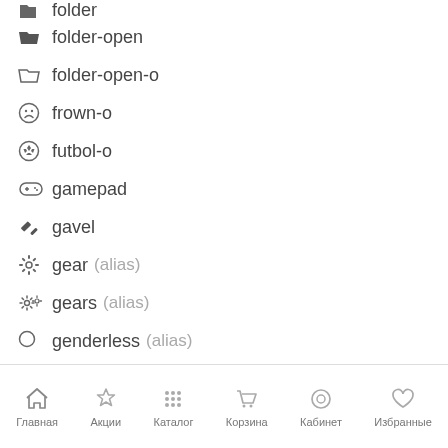folder (partial, top cut off)
folder-open
folder-open-o
frown-o
futbol-o
gamepad
gavel
gear (alias)
gears (alias)
genderless (alias)
gift
glass
globe
graduation-cap
group (alias)
hdd-o
Главная  Акции  Каталог  Корзина  Кабинет  Избранные